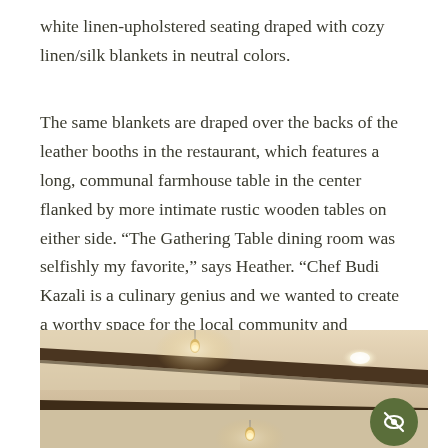white linen-upholstered seating draped with cozy linen/silk blankets in neutral colors.
The same blankets are draped over the backs of the leather booths in the restaurant, which features a long, communal farmhouse table in the center flanked by more intimate rustic wooden tables on either side. “The Gathering Table dining room was selfishly my favorite,” says Heather. “Chef Budi Kazali is a culinary genius and we wanted to create a worthy space for the local community and travelers alike to gather together and experience his talent.”
[Figure (photo): Interior photo of a restaurant ceiling with exposed dark wooden beams and warm pendant light bulbs hanging from the ceiling. Recessed lighting also visible. Warm amber/cream tones.]